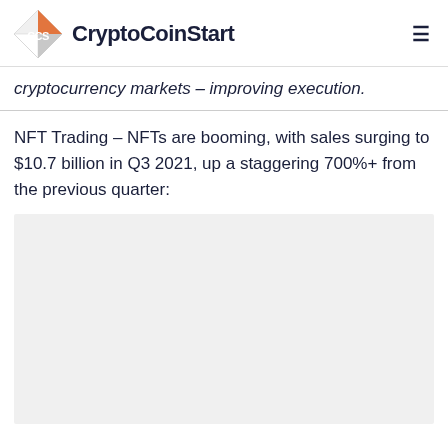CryptoCoinStart
cryptocurrency markets – improving execution.
NFT Trading – NFTs are booming, with sales surging to $10.7 billion in Q3 2021, up a staggering 700%+ from the previous quarter:
[Figure (photo): Light gray placeholder image area below the NFT Trading paragraph]